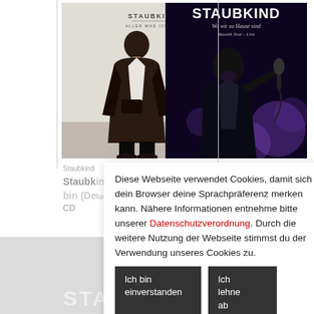[Figure (photo): Left album cover: Staubkind - Alles Was Ich Bin. Shows a young man standing against a white wall wearing a dark jacket.]
[Figure (photo): Right album cover: Staubkind - Wo wir zu Hause sind: Akustik Tour - Live. Shows a person singing into a microphone with purple bokeh background.]
Staubkind
Staubkind - Alles was ich bin (Deluxe Edition) - CD
CD
Staubkind
Staubkind - Wo wir zu Hause sind: Akustik Tour - Live - CD
CD
Diese Webseite verwendet Cookies, damit sich dein Browser deine Sprachpräferenz merken kann. Nähere Informationen entnehme bitte unserer Datenschutzverordnung. Durch die weitere Nutzung der Webseite stimmst du der Verwendung unseres Cookies zu.
Ich bin einverstanden
Ich lehne ab